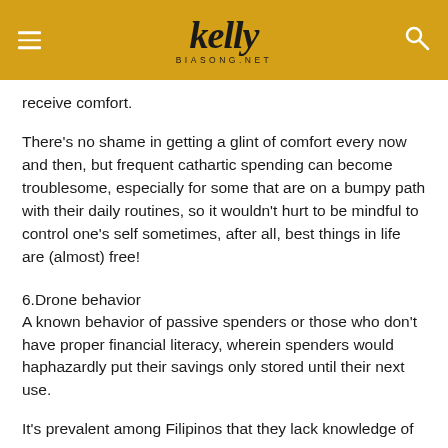kelly biasong.net
receive comfort.
There's no shame in getting a glint of comfort every now and then, but frequent cathartic spending can become troublesome, especially for some that are on a bumpy path with their daily routines, so it wouldn't hurt to be mindful to control one's self sometimes, after all, best things in life are (almost) free!
6.Drone behavior
A known behavior of passive spenders or those who don't have proper financial literacy, wherein spenders would haphazardly put their savings only stored until their next use.
It's prevalent among Filipinos that they lack knowledge of